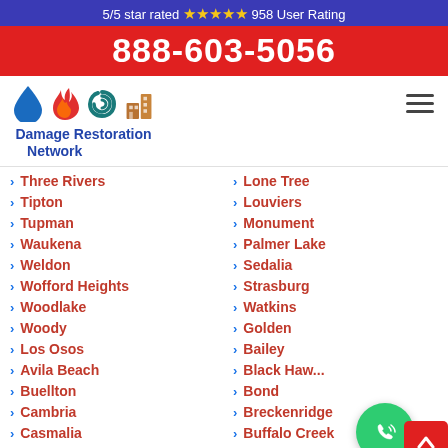5/5 star rated ⭐⭐⭐⭐⭐ 958 User Rating
888-603-5056
[Figure (logo): Damage Restoration Network logo with water drop, fire, hurricane, and building icons]
Three Rivers
Tipton
Tupman
Waukena
Weldon
Wofford Heights
Woodlake
Woody
Los Osos
Avila Beach
Buellton
Cambria
Casmalia
Cayucos
Lone Tree
Louviers
Monument
Palmer Lake
Sedalia
Strasburg
Watkins
Golden
Bailey
Black Haw...
Bond
Breckenridge
Buffalo Creek
Burns